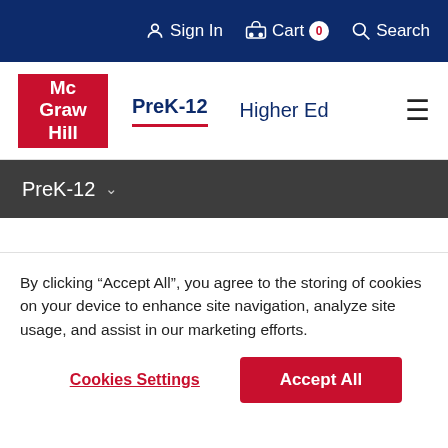Sign In  Cart 0  Search
[Figure (logo): McGraw Hill red logo box with white text]
PreK-12  Higher Ed
PreK-12
By clicking “Accept All”, you agree to the storing of cookies on your device to enhance site navigation, analyze site usage, and assist in our marketing efforts.
Cookies Settings  Accept All